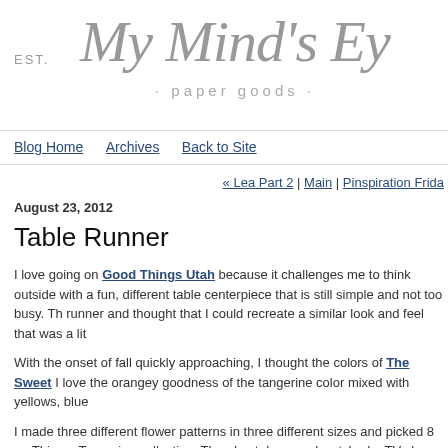EST.  My Mind's Eye · paper goods ·
Blog Home   Archives   Back to Site
« Lea Part 2 | Main | Pinspiration Frida
August 23, 2012
Table Runner
I love going on Good Things Utah because it challenges me to think outside with a fun, different table centerpiece that is still simple and not too busy. The runner and thought that I could recreate a similar look and feel that was a lit
With the onset of fall quickly approaching, I thought the colors of The Sweet I love the orangey goodness of the tangerine color mixed with yellows, blue
I made three different flower patterns in three different sizes and picked 8 pa Thing – Tangerine collection.  Then I sat down and watched a TV show with used 35 flowers on my runner.